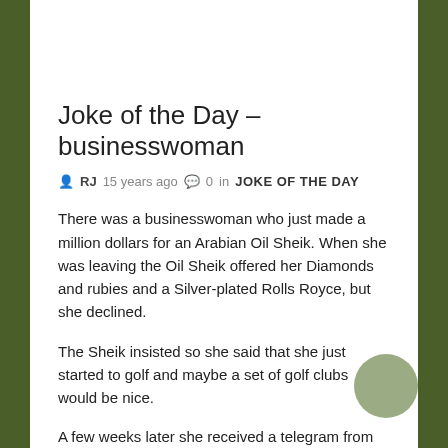Joke of the Day – businesswoman
RJ  15 years ago  0  in  JOKE OF THE DAY
There was a businesswoman who just made a million dollars for an Arabian Oil Sheik. When she was leaving the Oil Sheik offered her Diamonds and rubies and a Silver-plated Rolls Royce, but she declined.
The Sheik insisted so she said that she just started to golf and maybe a set of golf clubs would be nice.
A few weeks later she received a telegram from the sheik.
"So far I have bought you 3 golf clubs. I hope you aren't disappointed that only 2 of them have swimming pools."